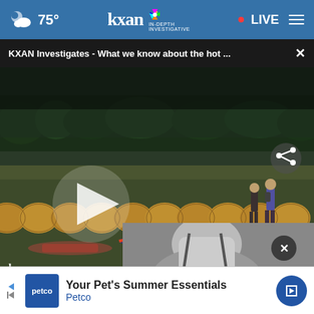75° KXAN IN-DEPTH INVESTIGATIVE LIVE
KXAN Investigates - What we know about the hot ...
[Figure (screenshot): Video player showing a field with hay bales and people, KXAN news footage. Play button overlay visible. KXAN watermark in bottom left with 6:02 98°. Share icon in top right. Video is paused.]
[Figure (photo): Partial black and white photo of person(s), partially obscured by ad. Dark circular X button overlay in upper right of this section.]
Your Pet's Summer Essentials
Petco